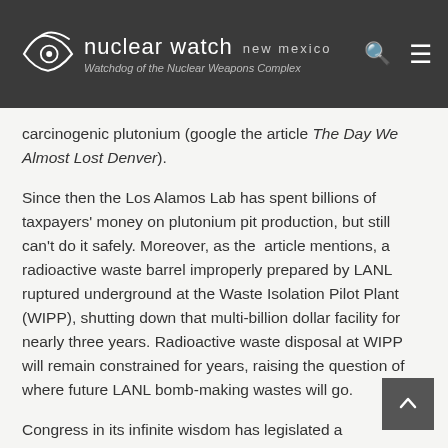nuclear watch new mexico — Watchdog of the Nuclear Weapons Complex
carcinogenic plutonium (google the article The Day We Almost Lost Denver).
Since then the Los Alamos Lab has spent billions of taxpayers' money on plutonium pit production, but still can't do it safely. Moreover, as the article mentions, a radioactive waste barrel improperly prepared by LANL ruptured underground at the Waste Isolation Pilot Plant (WIPP), shutting down that multi-billion dollar facility for nearly three years. Radioactive waste disposal at WIPP will remain constrained for years, raising the question of where future LANL bomb-making wastes will go.
Congress in its infinite wisdom has legislated a requirement that the Los Alamos Lab expand plutonium pit production, regardless of the technical needs of the stockpile. That the existing stockpile